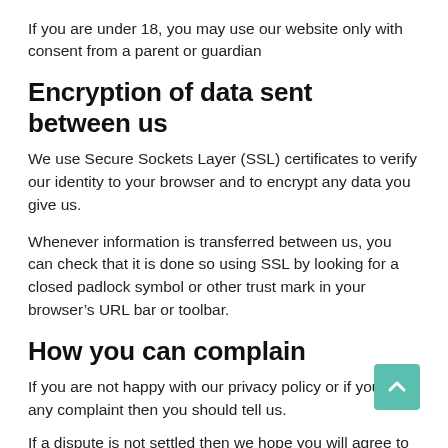If you are under 18, you may use our website only with consent from a parent or guardian
Encryption of data sent between us
We use Secure Sockets Layer (SSL) certificates to verify our identity to your browser and to encrypt any data you give us.
Whenever information is transferred between us, you can check that it is done so using SSL by looking for a closed padlock symbol or other trust mark in your browser’s URL bar or toolbar.
How you can complain
If you are not happy with our privacy policy or if you have any complaint then you should tell us.
If a dispute is not settled then we hope you will agree to